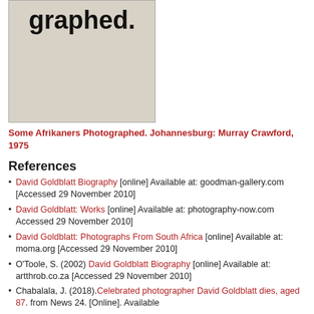[Figure (photo): Book cover showing the text 'graphed.' in large bold serif font on a cream/beige background]
Some Afrikaners Photographed. Johannesburg: Murray Crawford, 1975
References
David Goldblatt Biography [online] Available at: goodman-gallery.com [Accessed 29 November 2010]
David Goldblatt: Works [online] Available at: photography-now.com Accessed 29 November 2010]
David Goldblatt: Photographs From South Africa [online] Available at: moma.org [Accessed 29 November 2010]
O'Toole, S. (2002) David Goldblatt Biography [online] Available at: artthrob.co.za [Accessed 29 November 2010]
Chabalala, J. (2018).Celebrated photographer David Goldblatt dies, aged 87. from News 24. [Online]. Available